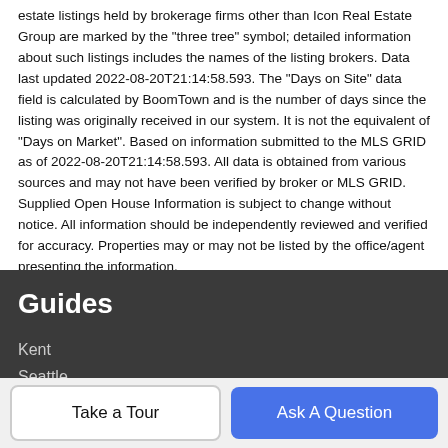estate listings held by brokerage firms other than Icon Real Estate Group are marked by the "three tree" symbol; detailed information about such listings includes the names of the listing brokers. Data last updated 2022-08-20T21:14:58.593. The "Days on Site" data field is calculated by BoomTown and is the number of days since the listing was originally received in our system. It is not the equivalent of "Days on Market". Based on information submitted to the MLS GRID as of 2022-08-20T21:14:58.593. All data is obtained from various sources and may not have been verified by broker or MLS GRID. Supplied Open House Information is subject to change without notice. All information should be independently reviewed and verified for accuracy. Properties may or may not be listed by the office/agent presenting the information.
Guides
Kent
Seattle
Take a Tour
Ask A Question